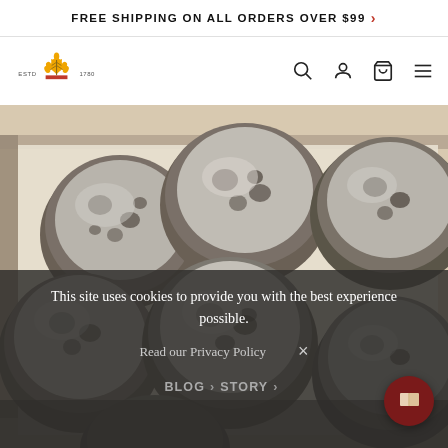FREE SHIPPING ON ALL ORDERS OVER $99 >
[Figure (logo): Brand logo with wheat/crown icon, ESTD 1780 text, and navigation icons (search, user, cart, menu)]
[Figure (photo): Overhead photo of blueberry muffins or baked goods on white parchment paper in a baking tray]
This site uses cookies to provide you with the best experience possible.
Read our Privacy Policy  ×
BLOG > STORY >